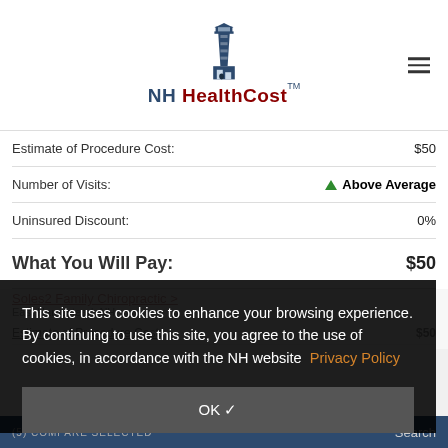[Figure (logo): NH HealthCost lighthouse logo with text]
Estimate of Procedure Cost: $50
Number of Visits: ▲ Above Average
Uninsured Discount: 0%
What You Will Pay: $50
Estimate of Procedure Cost: $50
This site uses cookies to enhance your browsing experience. By continuing to use this site, you agree to the use of cookies, in accordance with the NH website Privacy Policy
OK ✓
(5) COMPARE SELECTED   Search